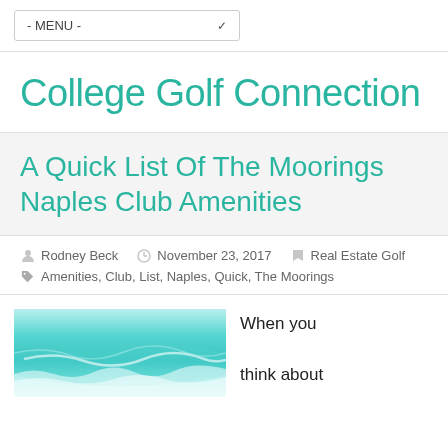- MENU -
College Golf Connection
A Quick List Of The Moorings Naples Club Amenities
Rodney Beck   November 23, 2017   Real Estate Golf
Amenities, Club, List, Naples, Quick, The Moorings
[Figure (photo): Aerial/landscape photo with turquoise blue tones showing snowy or misty terrain]
When you think about